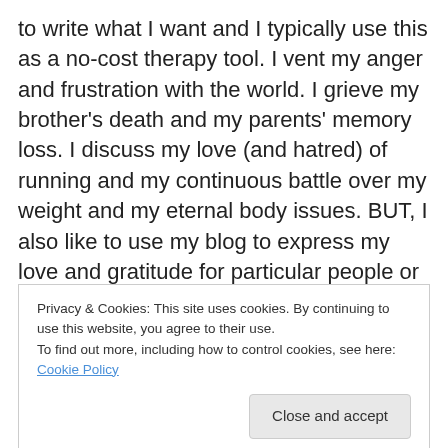to write what I want and I typically use this as a no-cost therapy tool. I vent my anger and frustration with the world. I grieve my brother's death and my parents' memory loss. I discuss my love (and hatred) of running and my continuous battle over my weight and my eternal body issues. BUT, I also like to use my blog to express my love and gratitude for particular people or things or situations.

My post last week brought a HUGE amount of love and support from my friends and family and I cannot begin to
Privacy & Cookies: This site uses cookies. By continuing to use this website, you agree to their use.
To find out more, including how to control cookies, see here: Cookie Policy
[Close and accept button]